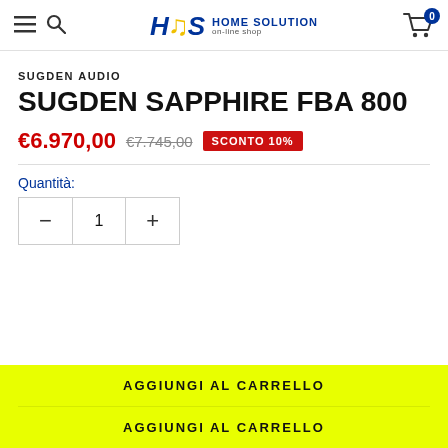[Figure (logo): H&S HOME SOLUTION on-line shop logo with hamburger menu, search icon, and cart with badge 0]
SUGDEN AUDIO
SUGDEN SAPPHIRE FBA 800
€6.970,00  €7.745,00  SCONTO 10%
Quantità:
− 1 +
AGGIUNGI AL CARRELLO
AGGIUNGI AL CARRELLO